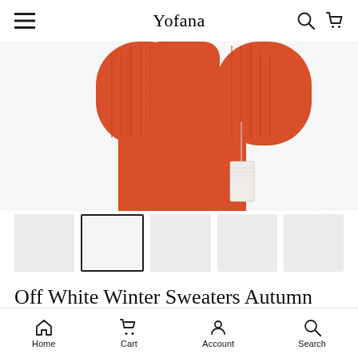Yofana
[Figure (photo): Top portion of an orange/red knitted sweater shown against a white background, with a price tag visible]
[Figure (screenshot): Thumbnail image strip with 5 product thumbnails, second one selected with black border]
Off White Winter Sweaters Autumn Knitted Men's and Women's Knitted Sweater
Home  Cart  Account  Search